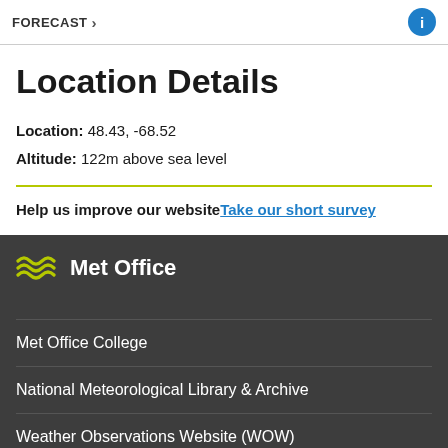FORECAST
Location Details
Location: 48.43, -68.52
Altitude: 122m above sea level
Help us improve our website Take our short survey
[Figure (logo): Met Office logo with wavy lines icon]
Met Office College
National Meteorological Library & Archive
Weather Observations Website (WOW)
Accessibility